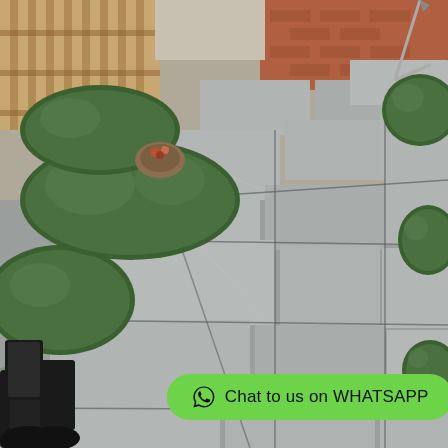[Figure (photo): Outdoor garden path made of large grey natural stone / slate paving slabs laid in a herringbone-style pattern. Green trimmed box hedges and shrubs line both sides of the path. Wooden slatted fence panels and a brick wall visible in the background. A person's black boots are visible in the lower left corner. A green WhatsApp chat button overlay appears at the bottom of the image.]